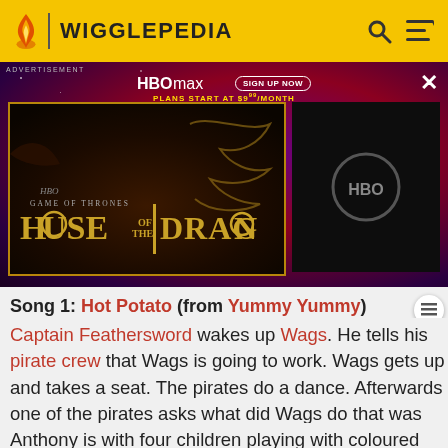WIGGLEPEDIA
[Figure (screenshot): HBO Max advertisement banner featuring House of the Dragon promotional image on a dark purple/red starry background. Left panel shows the House of the Dragon title card; right panel shows the HBO logo on a dark background. Top of banner shows HBO max logo with 'SIGN UP NOW' button and 'PLANS START AT $9.99/MONTH' text. An X close button is in the upper right.]
Song 1: Hot Potato (from Yummy Yummy)
Captain Feathersword wakes up Wags. He tells his pirate crew that Wags is going to work. Wags gets up and takes a seat. The pirates do a dance. Afterwards one of the pirates asks what did Wags do that was work? Captain Feathersword answers: he's a watchdog.
Anthony is with four children playing with coloured dough and tells the good things about what to do with dough,